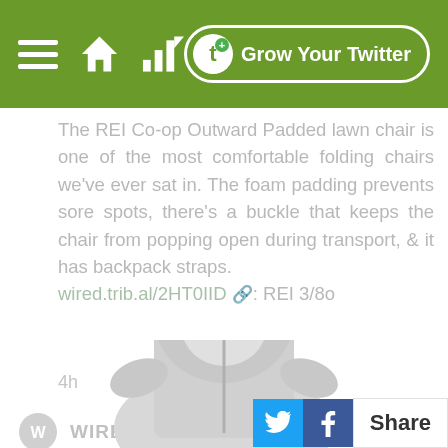Grow Your Twitter
The REI Co-op Outward Padded lawn chair is one of the most comfortable folding chairs we've ever sat in. The foam padding prevents sore spots, there's a buckle that keeps the chair from popping open during transport, & it has backpack straps. wired.trib.al/2HT0IID 📷: REI 3/8o
4h
WIRED @WIRED
[Figure (photo): Screenshot of a Twitter-like mobile app interface showing tweets from WIRED account. Top green navigation bar with hamburger menu, home and stats icons, and 'Grow Your Twitter' button. Two tweets visible: one about REI Co-op Outward Padded lawn chair with product description, and another from @WIRED with a jacket product image partially visible. Share bar with Twitter and Facebook buttons at bottom right.]